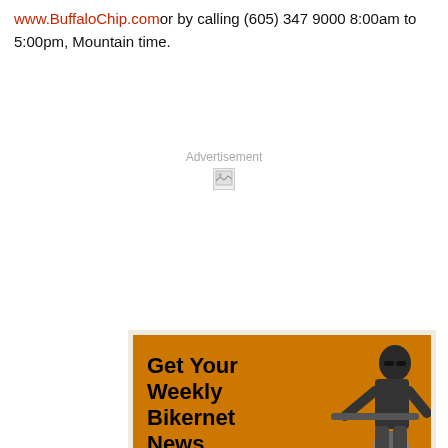www.BuffaloChip.comor by calling (605) 347 9000 8:00am to 5:00pm, Mountain time.
Advertisement
[Figure (illustration): Orange advertisement banner for Bikernet News Updates. Bold black text reads 'Get Your Weekly Bikernet News Updates' with italic white/cream text 'Click Here And Sign Up Today!' on the left side. A black and white photo of a biker on a motorcycle appears on the right side of the banner.]